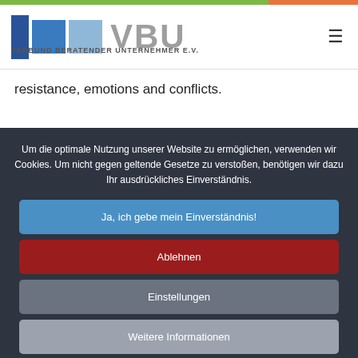[Figure (logo): VBU - Verbund Beratender Unternehmer e.V. logo with three blue squares and text]
resistance, emotions and conflicts.
Um die optimale Nutzung unserer Website zu ermöglichen, verwenden wir Cookies. Um nicht gegen geltende Gesetze zu verstoßen, benötigen wir dazu Ihr ausdrückliches Einverständnis.
Ja, ich gebe mein Einverständnis!
Ablehnen
Einstellungen
Weitere Informationen